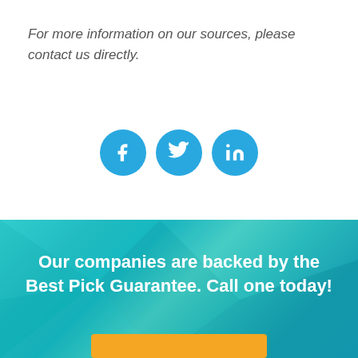For more information on our sources, please contact us directly.
[Figure (infographic): Three circular social media icons: Facebook (f), Twitter (bird), LinkedIn (in), all in blue on white background]
Our companies are backed by the Best Pick Guarantee. Call one today!